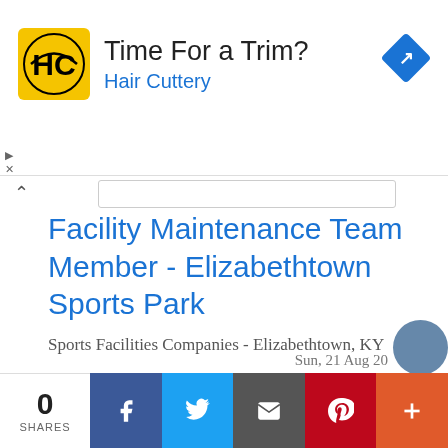[Figure (advertisement): Hair Cuttery ad with logo, 'Time For a Trim?' heading and blue directions icon]
Facility Maintenance Team Member - Elizabethtown Sports Park
Sports Facilities Companies - Elizabethtown, KY
The Sports Facilities Companies (SFC) are the Nation's leading resources for the management and development of sports... the gamut of sports and recreation needs from sports tourism & recreation master planning, program planning...
Sun, 21 Aug 20...
0 SHARES | Facebook | Twitter | Email | Pinterest | More